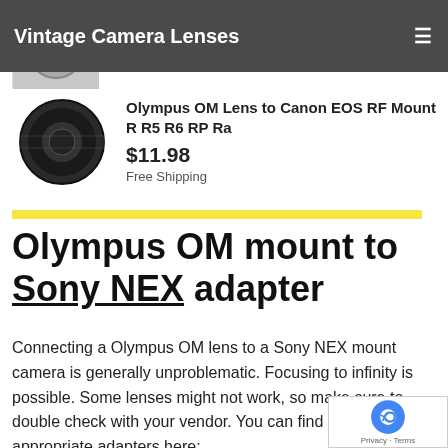Vintage Camera Lenses
[Figure (photo): Partial product listing at top: EOS EF Camera mount adapter, $12.71, Free Shipping with a product thumbnail partially visible]
[Figure (photo): Olympus OM Lens to Canon EOS RF Mount R R5 R6 RP Ra adapter ring product image on white background]
Olympus OM Lens to Canon EOS RF Mount R R5 R6 RP Ra
$11.98
Free Shipping
Olympus OM mount to Sony NEX adapter
Connecting a Olympus OM lens to a Sony NEX mount camera is generally unproblematic. Focusing to infinity is possible. Some lenses might not work, so make sure to double check with your vendor. You can find the appropriate adapters here: